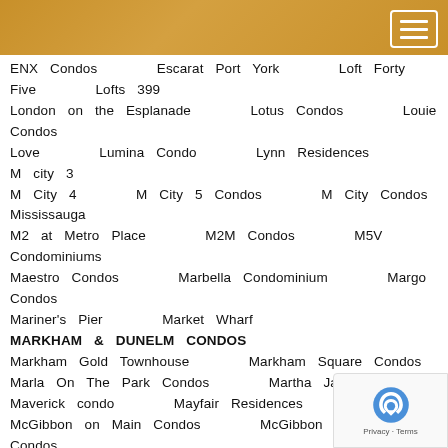ENX Condos   Escarat Port York   Loft Forty Five   Lofts 399
London on the Esplanade   Lotus Condos   Louie Condos
Love   Lumina Condo   Lynn Residences   M city 3
M City 4   M City 5 Condos   M City Condos Mississauga
M2 at Metro Place   M2M Condos   M5V Condominiums
Maestro Condos   Marbella Condominium   Margo Condos
Mariner's Pier   Market Wharf
MARKHAM & DUNELM CONDOS
Markham Gold Townhouse   Markham Square Condos
Marla On The Park Condos   Martha James Condos
Maverick condo   Mayfair Residences
McGibbon on Main Condos   McGibbon on Main Condos
ME Living Condos   Me2 Condos   ME3   MERCI Le
Merge Condos   Merton Yonge Condominiums
Metro Park Condos   MILA Towns   Milan   Milliken Centre
Mills Square   Mint Condos   Minto 30 Roe   Minto Westside
Minto Yorkville Park   minto775 King West
Mirabella Luxury Condos   Miracle At Yonge Condominiums
Miracle in Mississauga   Mississauga Square Condos
Mohilio Condos   MODO 55 Condos   Monde